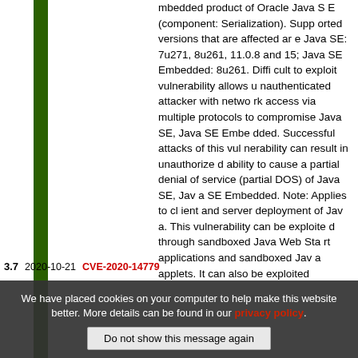mbedded product of Oracle Java SE (component: Serialization). Supported versions that are affected are Java SE: 7u271, 8u261, 11.0.8 and 15; Java SE Embedded: 8u261. Difficult to exploit vulnerability allows unauthenticated attacker with network access via multiple protocols to compromise Java SE, Java SE Embedded. Successful attacks of this vulnerability can result in unauthorized ability to cause a partial denial of service (partial DOS) of Java SE, Java SE Embedded. Note: Applies to client and server deployment of Java. This vulnerability can be exploited through sandboxed Java Web Start applications and sandboxed Java applets. It can also be exploited
3.7   2020-10-21   CVE-2020-14779
We have placed cookies on your computer to help make this website better. More details can be found in our privacy policy.
Do not show this message again